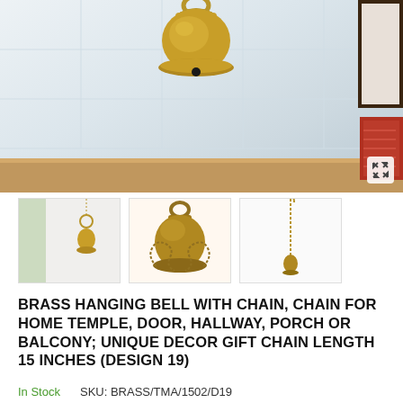[Figure (photo): Main product image of a brass hanging bell against a light grey/white background, with wooden table surface visible at bottom and decorative items on right edge. Expand icon in bottom-right corner.]
[Figure (photo): Thumbnail 1: Brass hanging bell with chain in lifestyle setting]
[Figure (photo): Thumbnail 2: Close-up of brass bell with decorative chain]
[Figure (photo): Thumbnail 3: Brass bell with long hanging chain/tassel]
BRASS HANGING BELL WITH CHAIN, CHAIN FOR HOME TEMPLE, DOOR, HALLWAY, PORCH OR BALCONY; UNIQUE DECOR GIFT CHAIN LENGTH 15 INCHES (DESIGN 19)
In Stock    SKU: BRASS/TMA/1502/D19